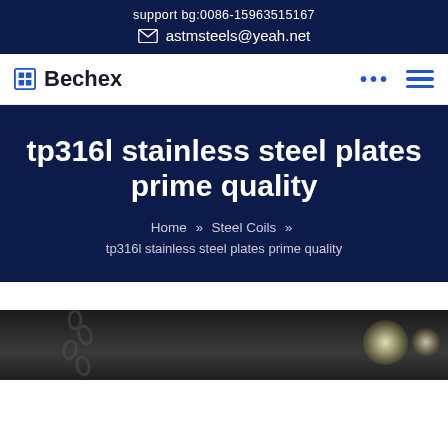support bg:0086-15963515167
astmsteels@yeah.net
Bechex
tp316l stainless steel plates prime quality
Home » Steel Coils » tp316l stainless steel plates prime quality
[Figure (photo): Industrial factory interior with chains and bright overhead lights, dark background]